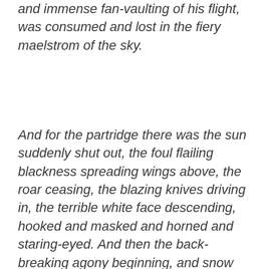and immense fan-vaulting of his flight, was consumed and lost in the fiery maelstrom of the sky.
And for the partridge there was the sun suddenly shut out, the foul flailing blackness spreading wings above, the roar ceasing, the blazing knives driving in, the terrible white face descending, hooked and masked and horned and staring-eyed. And then the back-breaking agony beginning, and snow scattering from scuffling feet, and show filling the bill's wide silent scream, till the merciful needle of the hawk's beak notched in the straining neck and jerked the shuddering